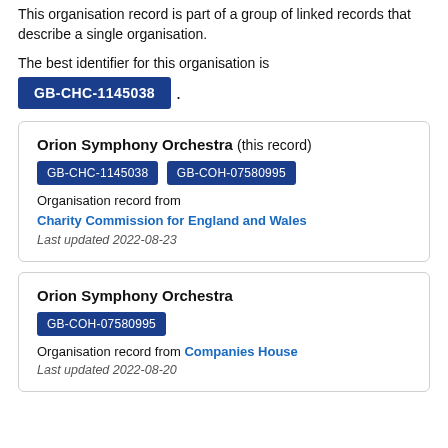This organisation record is part of a group of linked records that describe a single organisation.
The best identifier for this organisation is
GB-CHC-1145038 .
| Orion Symphony Orchestra (this record) | GB-CHC-1145038 | GB-COH-07580995 | Organisation record from | Charity Commission for England and Wales | Last updated 2022-08-23 |
| Orion Symphony Orchestra | GB-COH-07580995 | Organisation record from Companies House | Last updated 2022-08-20 |